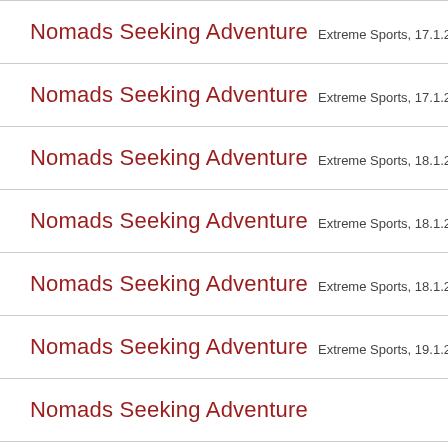Nomads Seeking Adventure   Extreme Sports, 17.1.22 ob
Nomads Seeking Adventure   Extreme Sports, 17.1.22 ob
Nomads Seeking Adventure   Extreme Sports, 18.1.22 ob
Nomads Seeking Adventure   Extreme Sports, 18.1.22 ob
Nomads Seeking Adventure   Extreme Sports, 18.1.22 ob
Nomads Seeking Adventure   Extreme Sports, 19.1.22 ob
Nomads Seeking Adventure   ...